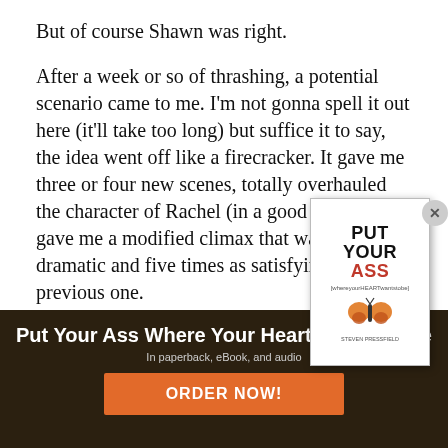But of course Shawn was right.
After a week or so of thrashing, a potential scenario came to me. I'm not gonna spell it out here (it'll take too long) but suffice it to say, the idea went off like a firecracker. It gave me three or four new scenes, totally overhauled the character of Rachel (in a good way), and gave me a modified climax that was twice as dramatic and five times as satisfying as the previous one.
[Figure (illustration): Book cover popup for 'Put Your Ass Where Your Heart Wants to Be' with a close button]
[Figure (photo): Dark background banner image with book logo and butterfly]
Put Your Ass Where Your Heart Wants to Be
In paperback, eBook, and audio
ORDER NOW!